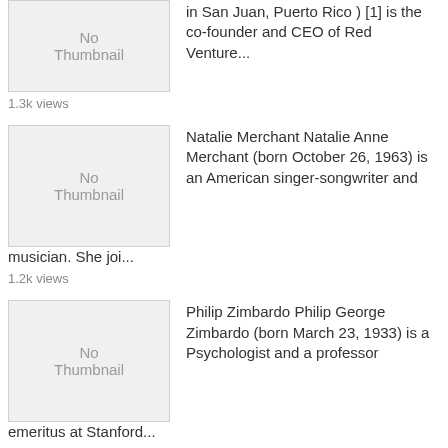[Figure (screenshot): Search result list showing biographical entries with 'No Thumbnail' placeholder images and view counts]
in San Juan, Puerto Rico ) [1] is the co-founder and CEO of Red Venture...
1.3k views
Natalie Merchant Natalie Anne Merchant (born October 26, 1963) is an American singer-songwriter and musician. She joi...
1.2k views
Philip Zimbardo Philip George Zimbardo (born March 23, 1933) is a Psychologist and a professor emeritus at Stanford...
1.2k views
Andrea M. Ghez Andrea Ghez Mia